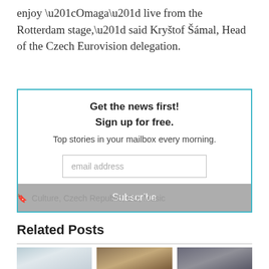enjoy “Omaga” live from the Rotterdam stage,” said Kryštof Šámal, Head of the Czech Eurovision delegation.
Get the news first!
Sign up for free.
Top stories in your mailbox every morning.
[email address] [Subscribe]
Culture, Czech Republic, EU, Music
Related Posts